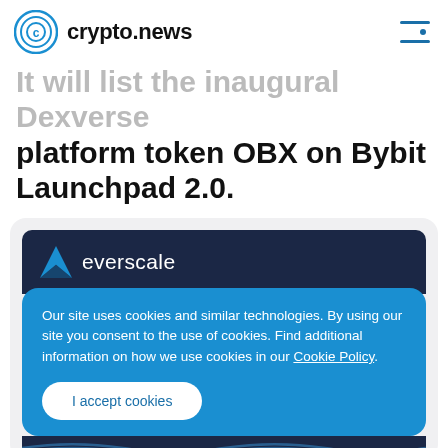crypto.news
It will list the inaugural Dexverse platform token OBX on Bybit Launchpad 2.0.
[Figure (screenshot): Everscale brand banner with dark navy background showing the Everscale logo (blue chevron shape) and the text 'everscale' in white]
Our site uses cookies and similar technologies. By using our site you consent to the use of cookies. Find additional information on how we use cookies in our Cookie Policy.
I accept cookies